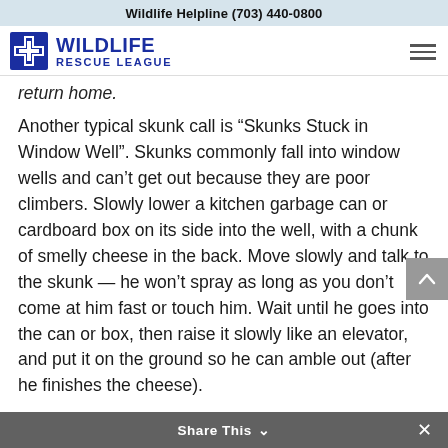Wildlife Helpline (703) 440-0800
[Figure (logo): Wildlife Rescue League logo with blue cross icon and text 'WILDLIFE RESCUE LEAGUE']
return home.
Another typical skunk call is “Skunks Stuck in Window Well”. Skunks commonly fall into window wells and can’t get out because they are poor climbers. Slowly lower a kitchen garbage can or cardboard box on its side into the well, with a chunk of smelly cheese in the back. Move slowly and talk to the skunk — he won’t spray as long as you don’t come at him fast or touch him. Wait until he goes into the can or box, then raise it slowly like an elevator, and put it on the ground so he can amble out (after he finishes the cheese).
Share This